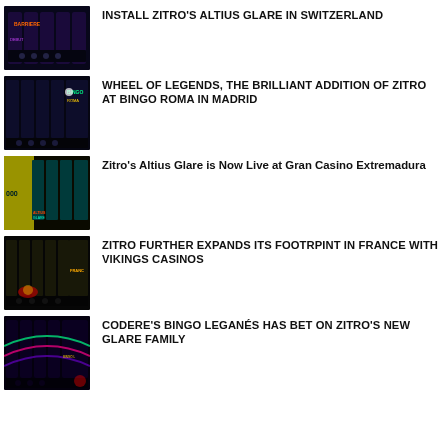[Figure (photo): Thumbnail image of Zitro gaming machines with dark background]
INSTALL ZITRO'S ALTIUS GLARE IN SWITZERLAND
[Figure (photo): Thumbnail image of Zitro Bingo Roma gaming floor with machines]
WHEEL OF LEGENDS, THE BRILLIANT ADDITION OF ZITRO AT BINGO ROMA IN MADRID
[Figure (photo): Thumbnail image of Zitro Altius Glare machines at Gran Casino Extremadura]
Zitro's Altius Glare is Now Live at Gran Casino Extremadura
[Figure (photo): Thumbnail image of Zitro machines at Vikings Casinos in France]
ZITRO FURTHER EXPANDS ITS FOOTRPINT IN FRANCE WITH VIKINGS CASINOS
[Figure (photo): Thumbnail image of Zitro Glare Family machines at Codere Bingo Leganés]
CODERE'S BINGO LEGANÉS HAS BET ON ZITRO'S NEW GLARE FAMILY